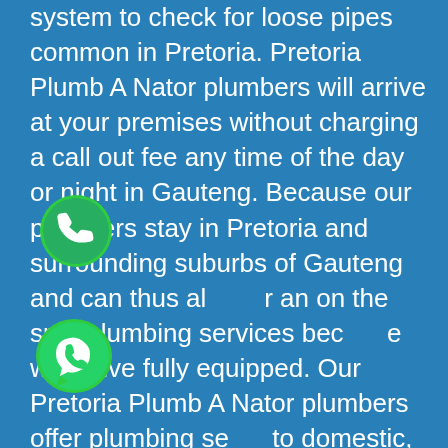system to check for loose pipes common in Pretoria. Pretoria Plumb A Nator plumbers will arrive at your premises without charging a call out fee any time of the day or night in Gauteng. Because our plumbers stay in Pretoria and surrounding suburbs of Gauteng and can thus always offer an on the spot plumbing services because we arrive fully equipped. Our Pretoria Plumb A Nator plumbers offer plumbing services to domestic, commercial and industrial clients in the area because we are the trusted authority in the plumbing arena around Gauteng. We only use the best equipped and trained plumbers in Pretoria to ensure that you receive the best possible plumbing service in Gauteng.
[Figure (illustration): Green circle phone call icon overlaid on text]
[Figure (illustration): WhatsApp green icon overlaid on text]